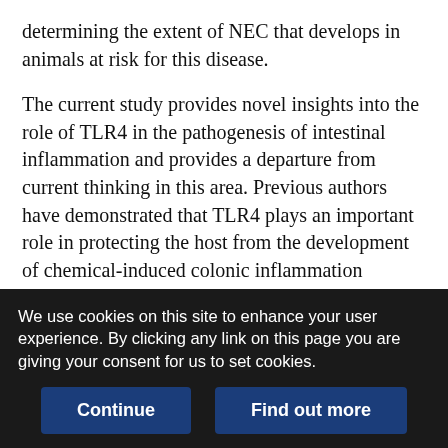determining the extent of NEC that develops in animals at risk for this disease.
The current study provides novel insights into the role of TLR4 in the pathogenesis of intestinal inflammation and provides a departure from current thinking in this area. Previous authors have demonstrated that TLR4 plays an important role in protecting the host from the development of chemical-induced colonic inflammation through the maintenance of intestinal homeostasis and the production of cytoprotective factors (66, 67, 68). However, subsequent studies have demonstrated that TLR4 may play a permissive role in the development of spontaneous colonic inflammation (69), suggesting either that the net effects
We use cookies on this site to enhance your user experience. By clicking any link on this page you are giving your consent for us to set cookies.